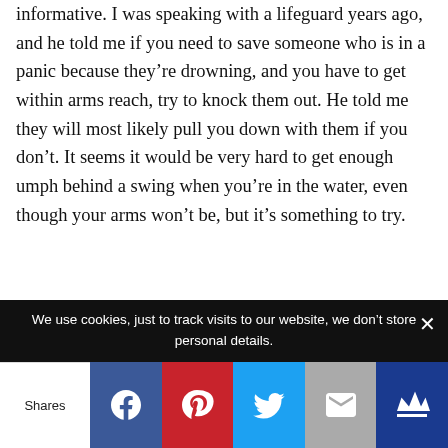informative. I was speaking with a lifeguard years ago, and he told me if you need to save someone who is in a panic because they're drowning, and you have to get within arms reach, try to knock them out. He told me they will most likely pull you down with them if you don't. It seems it would be very hard to get enough umph behind a swing when you're in the water, even though your arms won't be, but it's something to try.
We use cookies, just to track visits to our website, we don't store personal details.
Shares [Facebook] [Pinterest] [Twitter] [Email] [Crown]